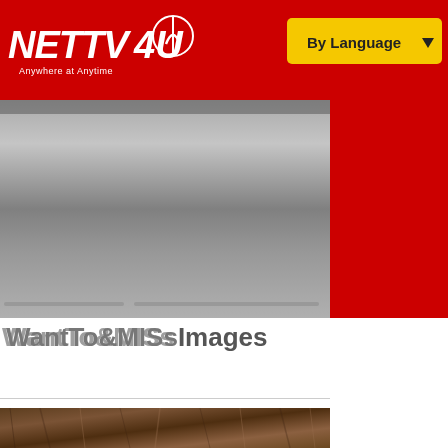[Figure (logo): NETTV4U logo — red background, white bold italic text 'NETTV4U' with antenna/wifi icon, subtitle 'Anywhere at Anytime']
[Figure (other): Yellow 'By Language' dropdown button with dark arrow on red header background]
[Figure (screenshot): Video player area showing grey/dark video placeholder with progress bar controls at bottom, and red sidebar to the right]
WantTo&MISsImages
[Figure (photo): Close-up photo of brown hair being touched by a hand]